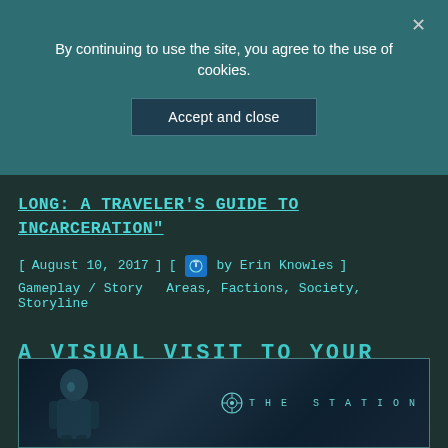By continuing to use the site, you agree to the use of cookies.
Accept and close
LONG: A TRAVELER'S GUIDE TO INCARCERATION"
[ August 10, 2017 ] [ by Erin Knowles ]
Gameplay / Story   Areas, Factions, Society, Storyline
A VISUAL VISIT TO YOUR LOCAL CLONE CENTER
[Figure (screenshot): Screenshot from a sci-fi game showing a character in a space station environment with THE STATION logo overlay]